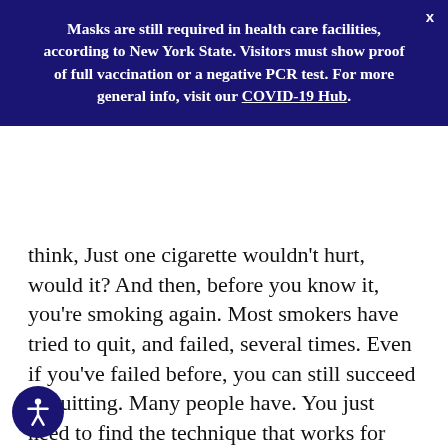Masks are still required in health care facilities, according to New York State. Visitors must show proof of full vaccination or a negative PCR test. For more general info, visit our COVID-19 Hub.
think, Just one cigarette wouldn't hurt, would it? And then, before you know it, you're smoking again. Most smokers have tried to quit, and failed, several times. Even if you've failed before, you can still succeed at quitting. Many people have. You just need to find the technique that works for you. So, here are a few tips that can help. First, set a quit date. Write it down on your calendar and tell a few friends, so you'll be too embarrassed to back out. Before your quit date, throw out every cigarette in your house, car, and office. Also toss every ashtray, lighter, and anything else you need to smoke. Wash your clothes and clean your furniture